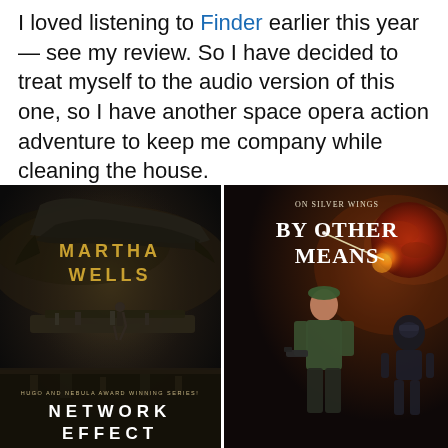I loved listening to Finder earlier this year — see my review. So I have decided to treat myself to the audio version of this one, so I have another space opera action adventure to keep me company while cleaning the house.
[Figure (photo): Book cover of 'Network Effect' by Martha Wells — Hugo and Nebula Award Winning Series. Dark sci-fi cover showing a figure standing on a spacecraft with another large vessel above in a dark smoky sky. Author name 'MARTHA WELLS' in gold letters, title 'NETWORK EFFECT' in white at the bottom.]
[Figure (photo): Book cover of 'By Other Means' — On Silver Wings series. Shows a woman in military gear and a robot/armored figure against a fiery space background with a red planet. Title 'BY OTHER MEANS' in large white serif letters, subtitle 'ON SILVER WINGS' above.]